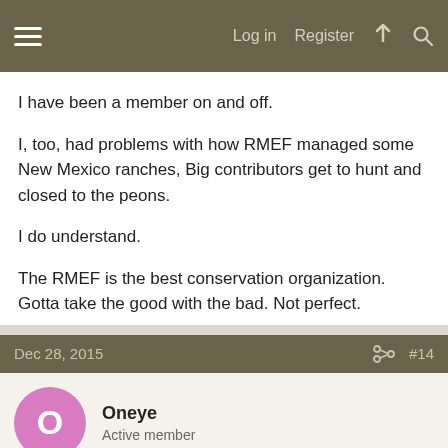Log in  Register
I have been a member on and off.
I, too, had problems with how RMEF managed some New Mexico ranches, Big contributors get to hunt and closed to the peons.
I do understand.
The RMEF is the best conservation organization. Gotta take the good with the bad. Not perfect.
Dec 28, 2015  #14
Oneye
Active member
I join to support them, if they send free stuff that's fine but the work they do and what they've accomplished is worth much more to me than a free knife. There's not an organization you're going